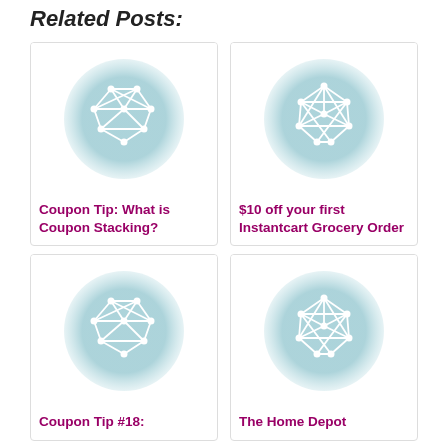Related Posts:
[Figure (illustration): Network graph icon on teal circular background - placeholder image for Coupon Tip: What is Coupon Stacking?]
Coupon Tip: What is Coupon Stacking?
[Figure (illustration): Network graph icon on teal circular background - placeholder image for $10 off your first Instantcart Grocery Order]
$10 off your first Instantcart Grocery Order
[Figure (illustration): Network graph icon on teal circular background - placeholder image for Coupon Tip #18:]
Coupon Tip #18:
[Figure (illustration): Network graph icon on teal circular background - placeholder image for The Home Depot]
The Home Depot